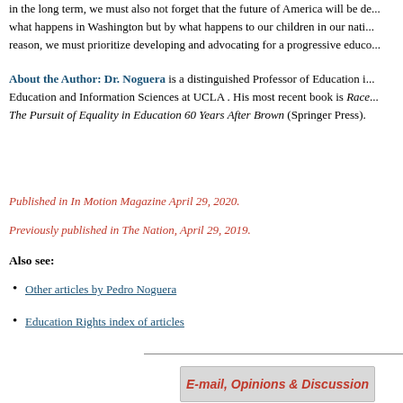In the long term, we must also not forget that the future of America will be determined not by what happens in Washington but by what happens to our children in our nation's schools. For that reason, we must prioritize developing and advocating for a progressive educ...
About the Author: Dr. Noguera is a distinguished Professor of Education in the Graduate School of Education and Information Sciences at UCLA . His most recent book is Race and Education: The Pursuit of Equality in Education 60 Years After Brown (Springer Press).
Published in In Motion Magazine April 29, 2020.
Previously published in The Nation, April 29, 2019.
Also see:
Other articles by Pedro Noguera
Education Rights index of articles
[Figure (infographic): E-mail, Opinions & Discussion banner button in red italic bold text on gray background]
If you have any thoughts on this or would like to contribute to an ongoing discussion E-mail, Opinions & Discussion column click here to send e-mail to publish@inmotion...